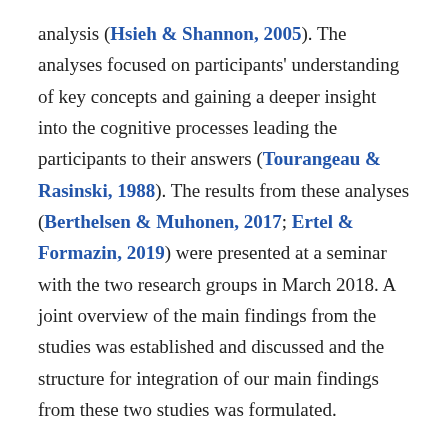analysis (Hsieh & Shannon, 2005). The analyses focused on participants' understanding of key concepts and gaining a deeper insight into the cognitive processes leading the participants to their answers (Tourangeau & Rasinski, 1988). The results from these analyses (Berthelsen & Muhonen, 2017; Ertel & Formazin, 2019) were presented at a seminar with the two research groups in March 2018. A joint overview of the main findings from the studies was established and discussed and the structure for integration of our main findings from these two studies was formulated.
Findings
In the following sections, we present the findings by